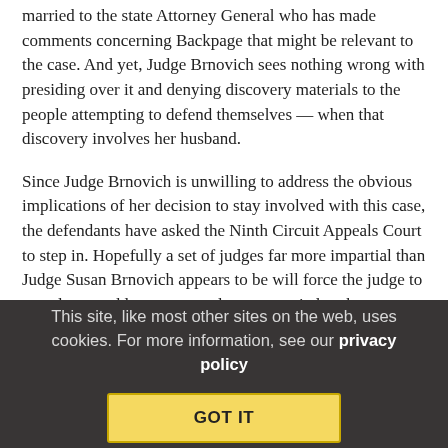married to the state Attorney General who has made comments concerning Backpage that might be relevant to the case. And yet, Judge Brnovich sees nothing wrong with presiding over it and denying discovery materials to the people attempting to defend themselves — when that discovery involves her husband.
Since Judge Brnovich is unwilling to address the obvious implications of her decision to stay involved with this case, the defendants have asked the Ninth Circuit Appeals Court to step in. Hopefully a set of judges far more impartial than Judge Susan Brnovich appears to be will force the judge to step down and let someone else not married to the state Attorney General, who has publicly discussed the case, take the reins.
Until then, Backpage is at the mercy of a system that seems to willingly be ignoring the “checks and balances” ideals that make this country great, at least when respected.
This site, like most other sites on the web, uses cookies. For more information, see our privacy policy
GOT IT